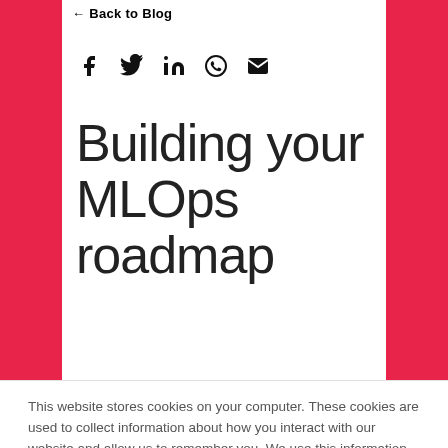← Back to Blog
[Figure (other): Social share icons row: Facebook, Twitter, LinkedIn, WhatsApp, Email]
Building your MLOps roadmap
This website stores cookies on your computer. These cookies are used to collect information about how you interact with our website and allow us to remember you. We use this information in order to improve and customize your browsing experience and for analytics and metrics about our visitors both on this website and other media. To find out more about the cookies we use, see our Privacy Policy

If you decline, your information won't be tracked when you visit this website. A single cookie will be used in your browser to remember your preference not to be tracked.